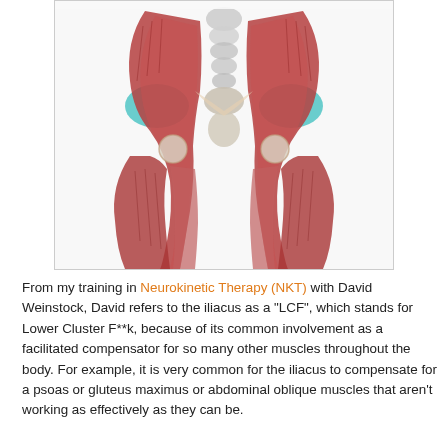[Figure (illustration): Anatomical illustration showing a frontal view of the human hip, pelvis, and upper leg musculature. The iliacus and psoas muscles are visible in red/brown tones, with teal/cyan highlighted areas on the iliac regions bilaterally. The spine, sacrum, and hip joints are visible in the center.]
From my training in Neurokinetic Therapy (NKT) with David Weinstock, David refers to the iliacus as a "LCF", which stands for Lower Cluster F**k, because of its common involvement as a facilitated compensator for so many other muscles throughout the body. For example, it is very common for the iliacus to compensate for a psoas or gluteus maximus or abdominal oblique muscles that aren't working as effectively as they can be.